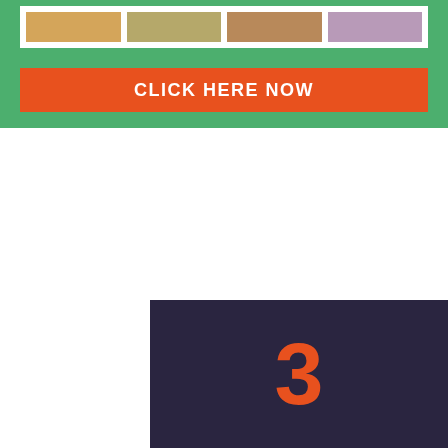[Figure (infographic): Green banner with four color swatches (tan, olive, brown, lavender) on a white background strip, and an orange 'CLICK HERE NOW' button below]
[Figure (infographic): Dark navy/purple card showing a large orange numeral '3' and bold white text reading 'FRANCHISE WINNERS, SURVIVORS']